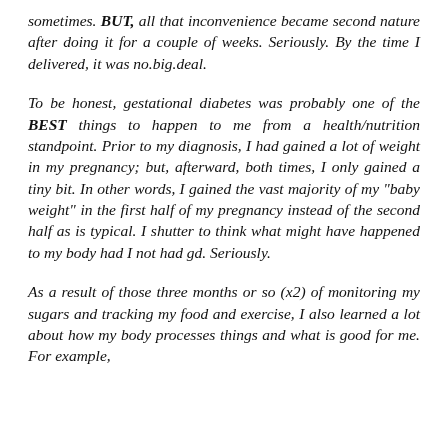sometimes. BUT, all that inconvenience became second nature after doing it for a couple of weeks. Seriously. By the time I delivered, it was no.big.deal.
To be honest, gestational diabetes was probably one of the BEST things to happen to me from a health/nutrition standpoint. Prior to my diagnosis, I had gained a lot of weight in my pregnancy; but, afterward, both times, I only gained a tiny bit. In other words, I gained the vast majority of my "baby weight" in the first half of my pregnancy instead of the second half as is typical. I shutter to think what might have happened to my body had I not had gd. Seriously.
As a result of those three months or so (x2) of monitoring my sugars and tracking my food and exercise, I also learned a lot about how my body processes things and what is good for me. For example,